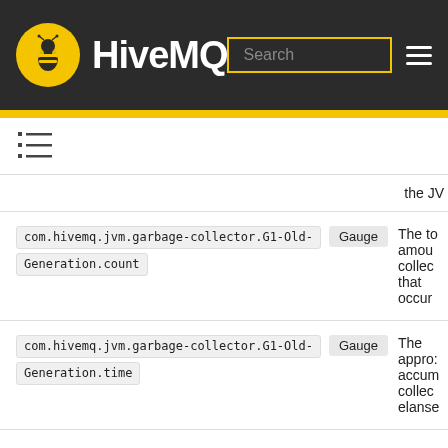[Figure (logo): HiveMQ logo with bee icon in yellow circle and white text on dark background, with search box and hamburger menu]
[Figure (other): Table of contents icon (list icon)]
the JV...
| Metric | Type | Description |
| --- | --- | --- |
| com.hivemq.jvm.garbage-collector.G1-Old-Generation.count | Gauge | The to... amount... collec... that occur... |
| com.hivemq.jvm.garbage-collector.G1-Old-Generation.time | Gauge | The approx... accum... collec... elanse... |